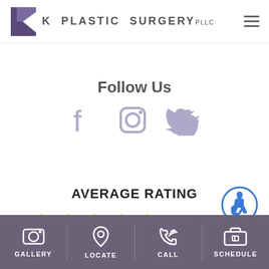K PLASTIC SURGERY PLLC
Follow Us
[Figure (other): Social media icons: Facebook, Instagram, Twitter in light purple/lavender color]
[Figure (other): Accessibility button - blue circle with wheelchair icon]
AVERAGE RATING
[Figure (other): Five gold stars with rating 4.9]
GALLERY | LOCATE | CALL | SCHEDULE